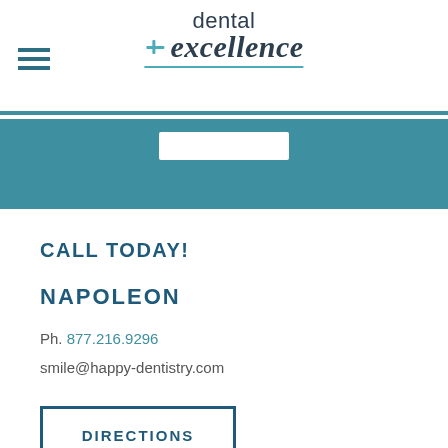[Figure (logo): Dental Excellence logo with hamburger menu icon on left and teal bar below]
CALL TODAY!
NAPOLEON
Ph. 877.216.9296
smile@happy-dentistry.com
DIRECTIONS
CALL NOW!